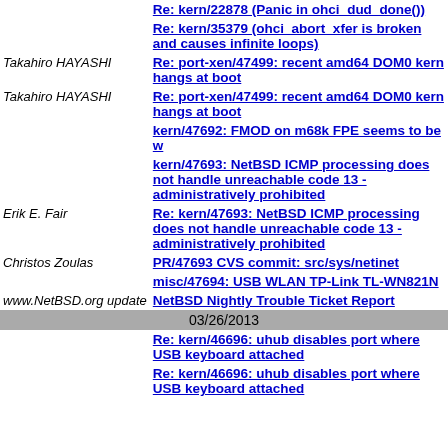Re: kern/22878 (Panic in ohci_dud_done())
Re: kern/35379 (ohci_abort_xfer is broken and causes infinite loops)
Takahiro HAYASHI — Re: port-xen/47499: recent amd64 DOM0 kern hangs at boot
Takahiro HAYASHI — Re: port-xen/47499: recent amd64 DOM0 kern hangs at boot
kern/47692: FMOD on m68k FPE seems to be w
kern/47693: NetBSD ICMP processing does not handle unreachable code 13 - administratively prohibited
Erik E. Fair — Re: kern/47693: NetBSD ICMP processing does not handle unreachable code 13 - administratively prohibited
Christos Zoulas — PR/47693 CVS commit: src/sys/netinet
misc/47694: USB WLAN TP-Link TL-WN821N
www.NetBSD.org update — NetBSD Nightly Trouble Ticket Report
03/26/2013
Re: kern/46696: uhub disables port where USB keyboard attached
Re: kern/46696: uhub disables port where USB keyboard attached